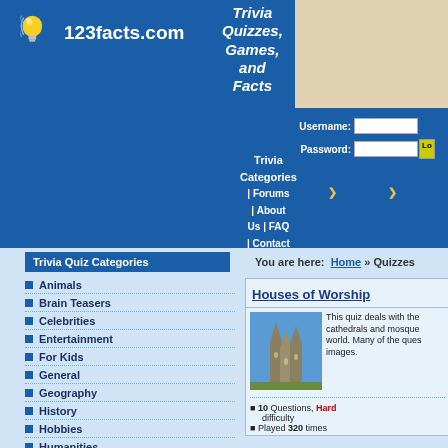[Figure (logo): 123facts.com logo with lightbulb icon and tagline 'Trivia Quizzes, Games, and Facts']
Username: [input] Password: [input] [Lo button]
Trivia Categories | Forums | About Us | FAQ | Contact Us
Trivia Quiz Categories
You are here: Home » Quizzes
Animals
Brain Teasers
Celebrities
Entertainment
For Kids
General
Geography
History
Hobbies
Humanities
Houses of Worship
This quiz deals with the cathedrals and mosques world. Many of the questions images.
[Figure (photo): Photo of cathedral spires against blue sky]
10 Questions, Hard difficulty
Played 320 times